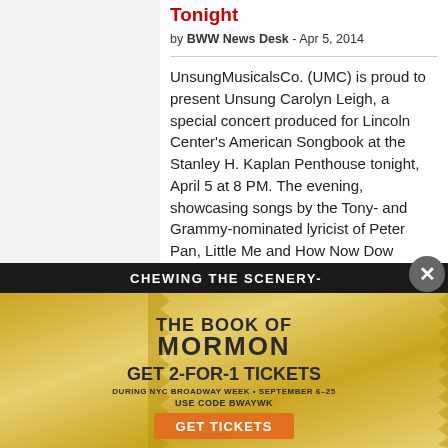Tonight
by BWW News Desk - Apr 5, 2014
UnsungMusicalsCo. (UMC) is proud to present Unsung Carolyn Leigh, a special concert produced for Lincoln Center's American Songbook at the Stanley H. Kaplan Penthouse tonight, April 5 at 8 PM. The evening, showcasing songs by the Tony- and Grammy-nominated lyricist of Peter Pan, Little Me and How Now Dow Jones, is created and directed by Ben West (The Fig Leaves Are Falling, At Home Abroad, Make Mine
CHEWING THE SCENERY-
[Figure (infographic): Advertisement for The Book of Mormon musical. Gold/glitter background with spiky border design. Text: THE BOOK OF MORMON. GET 2-FOR-1 TICKETS. DURING NYC BROADWAY WEEK • SEPTEMBER 6-25. USE CODE BWAYWK. GET TICKETS (orange button).]